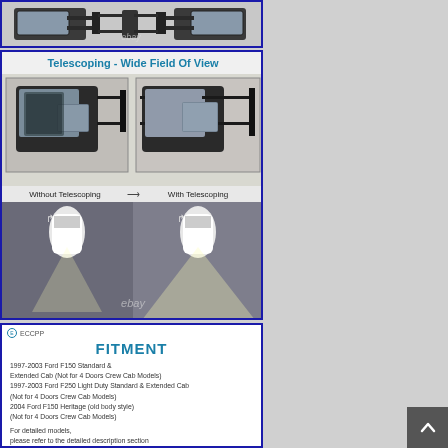[Figure (photo): Product photo of a pair of towing mirrors for Ford truck, shown side by side, with eBay watermark]
[Figure (infographic): Telescoping - Wide Field Of View infographic showing mirrors without and with telescoping extended, plus road view comparison showing wider field of view when telescoping is used. Contains eBay watermark.]
[Figure (infographic): FITMENT infographic from ECCPP brand showing compatible vehicles: 1997-2003 Ford F150 Standard & Extended Cab (Not for 4 Doors Crew Cab Models), 1997-2003 Ford F250 Light Duty Standard & Extended Cab (Not for 4 Doors Crew Cab Models), 2004 Ford F150 Heritage (old body style) (Not for 4 Doors Crew Cab Models). Note: For detailed models, please refer to the detailed description section.]